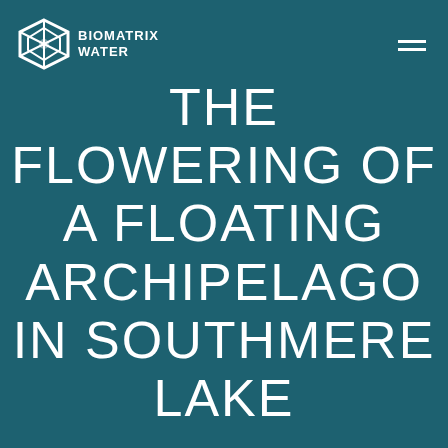BIOMATRIX WATER
THE FLOWERING OF A FLOATING ARCHIPELAGO IN SOUTHMERE LAKE